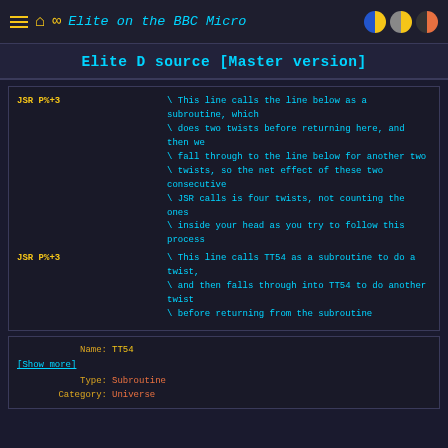Elite on the BBC Micro
Elite D source [Master version]
JSR P%+3  \ This line calls the line below as a subroutine, which
\ does two twists before returning here, and then we
\ fall through to the line below for another two
\ twists, so the net effect of these two consecutive
\ JSR calls is four twists, not counting the ones
\ inside your head as you try to follow this process
JSR P%+3  \ This line calls TT54 as a subroutine to do a twist,
\ and then falls through into TT54 to do another twist
\ before returning from the subroutine
Name: TT54
[Show more]
Type: Subroutine
Category: Universe